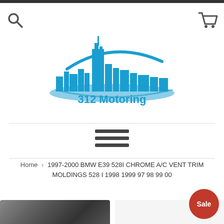[Figure (logo): 312 Motoring logo with blue city skyline silhouette and swoosh]
[Figure (other): Hamburger menu icon (three horizontal lines)]
Home › 1997-2000 BMW E39 528I CHROME A/C VENT TRIM MOLDINGS 528 I 1998 1999 97 98 99 00
[Figure (photo): Product photo of chrome A/C vent trim molding (dark metallic cone shape), with Sale badge]